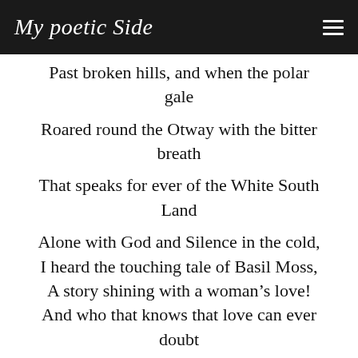My poetic Side
Past broken hills, and when the polar gale
Roared round the Otway with the bitter breath
That speaks for ever of the White South Land
Alone with God and Silence in the cold,
I heard the touching tale of Basil Moss,
A story shining with a woman’s love!
And who that knows that love can ever doubt
How dear, divine, sublime a thing it is;
For whilst the tale of Basil Moss